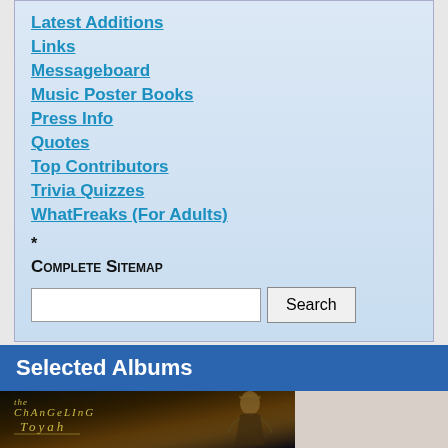Latest Additions
Links
Messageboard
Music Poster Books
Press Info
Quotes
Top Contributors
Trivia Quizzes
WhatFreaks (For Adults)
* Complete Sitemap
Selected Albums
[Figure (photo): Album cover for 'The Changeling' by Toyah, showing stylized text title and an artist figure against a dark background with golden tones]